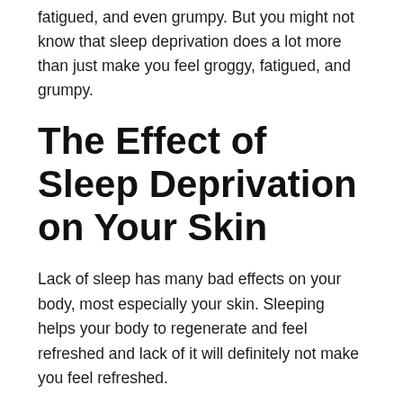fatigued, and even grumpy. But you might not know that sleep deprivation does a lot more than just make you feel groggy, fatigued, and grumpy.
The Effect of Sleep Deprivation on Your Skin
Lack of sleep has many bad effects on your body, most especially your skin. Sleeping helps your body to regenerate and feel refreshed and lack of it will definitely not make you feel refreshed.
So, how does lack of sleep affect your skin?
Darker Eyebags
When you don't get enough sleep, you'll notice that the